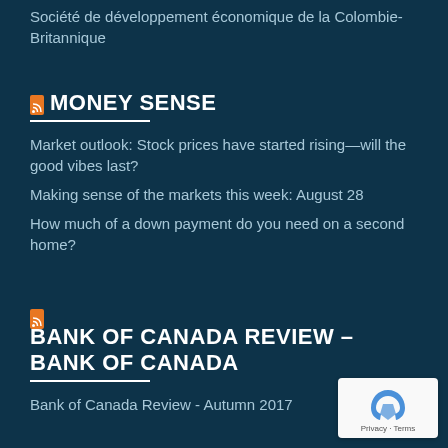Société de développement économique de la Colombie-Britannique
MONEY SENSE
Market outlook: Stock prices have started rising—will the good vibes last?
Making sense of the markets this week: August 28
How much of a down payment do you need on a second home?
BANK OF CANADA REVIEW – BANK OF CANADA
Bank of Canada Review - Autumn 2017